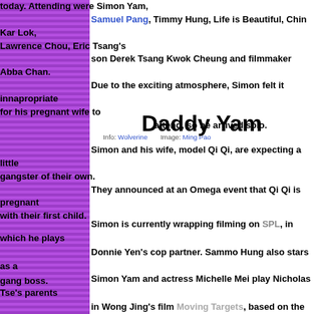today. Attending were Simon Yam, Samuel Pang, Timmy Hung, Life is Beautiful, Chin Kar Lok, Lawrence Chou, Eric Tsang's son Derek Tsang Kwok Cheung and filmmaker Abba Chan. Due to the exciting atmosphere, Simon felt it innapropriate for his pregnant wife to attend, so he arrived solo. Info: Wolverine   Image: Ming Pao
Daddy Yam
Simon and his wife, model Qi Qi, are expecting a little gangster of their own. They announced at an Omega event that Qi Qi is pregnant with their first child.
Simon is currently wrapping filming on SPL, in which he plays Donnie Yen's cop partner. Sammo Hung also stars as a gang boss.
Simon Yam and actress Michelle Mei play Nicholas Tse's parents in Wong Jing's film Moving Targets, based on the popular TVB classic "Police Cadet". It also stars Edison Chen, Gillian